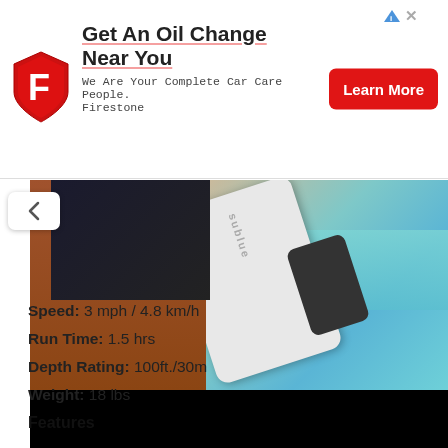[Figure (screenshot): Firestone advertisement banner: logo on left, bold headline 'Get An Oil Change Near You', subtitle 'We Are Your Complete Car Care People. Firestone', red Learn More button on right]
[Figure (photo): Woman in bikini at beach holding a Sublue underwater scooter device, with ocean in the background. Bottom portion of image is blacked out.]
Speed: 3 mph / 4.8 km/h
Run Time: 1.5 hrs
Depth Rating: 100ft./30m
Weight: 18 lbs
Features